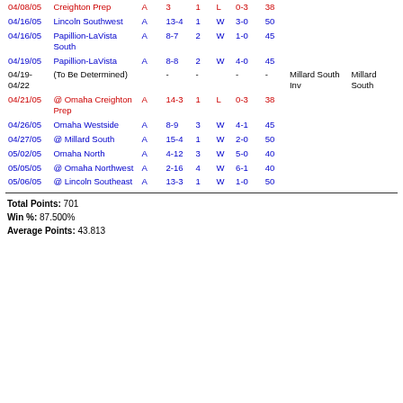| Date | Opponent | H/A | Score | Gm | W/L | Rec | Pts | Inv | Site |
| --- | --- | --- | --- | --- | --- | --- | --- | --- | --- |
| 04/08/05 | Creighton Prep | A | 3 | 1 | L | 0-3 | 38 |  |  |
| 04/16/05 | Lincoln Southwest | A | 13-4 | 1 | W | 3-0 | 50 |  |  |
| 04/16/05 | Papillion-LaVista South | A | 8-7 | 2 | W | 1-0 | 45 |  |  |
| 04/19/05 | Papillion-LaVista | A | 8-8 | 2 | W | 4-0 | 45 |  |  |
| 04/19-04/22 | (To Be Determined) |  |  | - | - |  | - | - | Millard South Inv | Millard South |
| 04/21/05 | @ Omaha Creighton Prep | A | 14-3 | 1 | L | 0-3 | 38 |  |  |
| 04/26/05 | Omaha Westside | A | 8-9 | 3 | W | 4-1 | 45 |  |  |
| 04/27/05 | @ Millard South | A | 15-4 | 1 | W | 2-0 | 50 |  |  |
| 05/02/05 | Omaha North | A | 4-12 | 3 | W | 5-0 | 40 |  |  |
| 05/05/05 | @ Omaha Northwest | A | 2-16 | 4 | W | 6-1 | 40 |  |  |
| 05/06/05 | @ Lincoln Southeast | A | 13-3 | 1 | W | 1-0 | 50 |  |  |
Total Points: 701
Win %: 87.500%
Average Points: 43.813